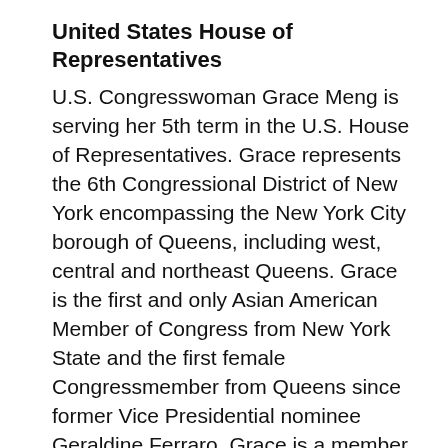United States House of Representatives
U.S. Congresswoman Grace Meng is serving her 5th term in the U.S. House of Representatives. Grace represents the 6th Congressional District of New York encompassing the New York City borough of Queens, including west, central and northeast Queens. Grace is the first and only Asian American Member of Congress from New York State and the first female Congressmember from Queens since former Vice Presidential nominee Geraldine Ferraro. Grace is a member of the House Appropriations Committee and is Vice Chair of its Subcommittee on